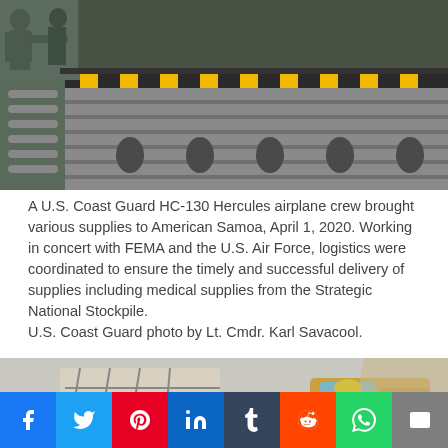[Figure (photo): Close-up of military cargo equipment on aircraft, showing yellow-striped loading ramp/palette system with military personnel in flight suits visible at upper left.]
A U.S. Coast Guard HC-130 Hercules airplane crew brought various supplies to American Samoa, April 1, 2020. Working in concert with FEMA and the U.S. Air Force, logistics were coordinated to ensure the timely and successful delivery of supplies including medical supplies from the Strategic National Stockpile. U.S. Coast Guard photo by Lt. Cmdr. Karl Savacool.
[Figure (photo): Bottom portion of a second photo showing cargo on a forklift being unloaded, with a worker in a yellow hard hat visible in a vehicle cab.]